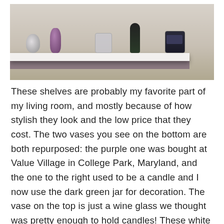[Figure (photo): A white floating shelf displaying decorative items: a silver metallic pear sculpture, a purple vase with dried flowers, a glass candle jar, a dark green/black vase with dried flowers, and a dark candle tin with label.]
These shelves are probably my favorite part of my living room, and mostly because of how stylish they look and the low price that they cost. The two vases you see on the bottom are both repurposed: the purple one was bought at Value Village in College Park, Maryland, and the one to the right used to be a candle and I now use the dark green jar for decoration. The vase on the top is just a wine glass we thought was pretty enough to hold candles! These white shelves can be found anywhere that sells home decor, whether it's Bed Bath & Beyond, Target, Wal Mart, etc.
[Figure (photo): Partial view of another shelf or decorative scene, partially cropped at bottom of page.]